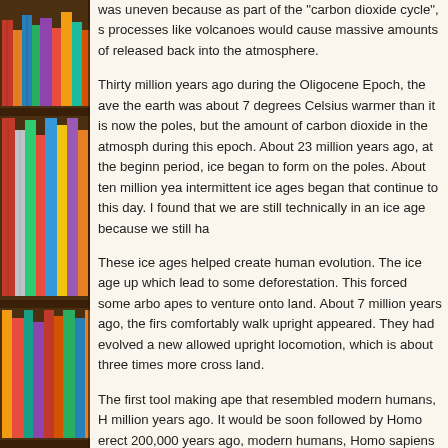[Figure (illustration): Bookshelf with colorful books on the left side of the page]
was uneven because as part of the "carbon dioxide cycle", s processes like volcanoes would cause massive amounts of released back into the atmosphere.
Thirty million years ago during the Oligocene Epoch, the ave the earth was about 7 degrees Celsius warmer than it is now the poles, but the amount of carbon dioxide in the atmosph during this epoch. About 23 million years ago, at the beginn period, ice began to form on the poles. About ten million yea intermittent ice ages began that continue to this day. I found that we are still technically in an ice age because we still ha
These ice ages helped create human evolution. The ice age up which lead to some deforestation. This forced some arbo apes to venture onto land. About 7 million years ago, the firs comfortably walk upright appeared. They had evolved a new allowed upright locomotion, which is about three times more cross land.
The first tool making ape that resembled modern humans, H million years ago. It would be soon followed by Homo erect 200,000 years ago, modern humans, Homo sapiens would a sapiens almost died out. About 50,000 years ago an ice age